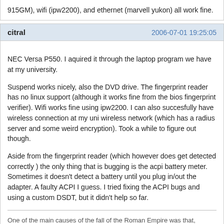915GM), wifi (ipw2200), and ethernet (marvell yukon) all work fine.
citral  2006-07-01 19:25:05
NEC Versa P550. I aquired it through the laptop program we have at my university.
Suspend works nicely, also the DVD drive. The fingerprint reader has no linux support (although it works fine from the bios fingerprint verifier). Wifi works fine using ipw2200. I can also succesfully have wireless connection at my uni wireless network (which has a radius server and some weird encryption). Took a while to figure out though.
Aside from the fingerprint reader (which however does get detected correctly ) the only thing that is bugging is the acpi battery meter. Sometimes it doesn't detect a battery until you plug in/out the adapter. A faulty ACPI I guess. I tried fixing the ACPI bugs and using a custom DSDT, but it didn't help so far.
One of the main causes of the fall of the Roman Empire was that, lacking zero,
they had no way to indicate successful termination of their C programs.
nori  2006-07-02 00:30:21